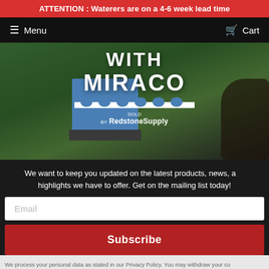ATTENTION : Waterers are on a 4-6 week lead time
Menu  Cart
[Figure (photo): Hero image showing MIRACO livestock waterer (blue box-shaped unit) with cattle drinking from it on green grass. Overlaid text reads 'WITH', 'MIRACO' logo with wave design, and 'sold by RedstoneSupply'.]
We want to keep you updated on the latest products, news, and highlights we have to offer. Get on the mailing list today!
Email
Subscribe
We process your personal data as stated in our Privacy Policy.  You may withdraw your consent or manage your preferences at any time by clicking the unsubscribe link at the bottom of any